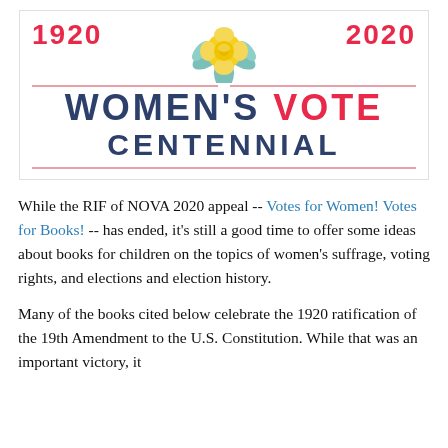[Figure (illustration): Women's Vote Centennial banner graphic with years 1920 and 2020 flanking a yellow rose with teal leaves, and text 'WOMEN'S VOTE CENTENNIAL' in navy and red on white background with pink divider lines]
While the RIF of NOVA 2020 appeal -- Votes for Women! Votes for Books! -- has ended, it's still a good time to offer some ideas about books for children on the topics of women's suffrage, voting rights, and elections and election history.
Many of the books cited below celebrate the 1920 ratification of the 19th Amendment to the U.S. Constitution. While that was an important victory, it